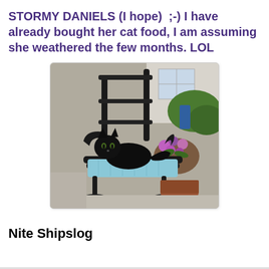STORMY DANIELS (I hope)  ;-) I have already bought her cat food, I am assuming she weathered the few months. LOL
[Figure (photo): A black cat lying on a light blue cushion on a dark metal patio chair, with flowers and a house visible in the background.]
Nite Shipslog